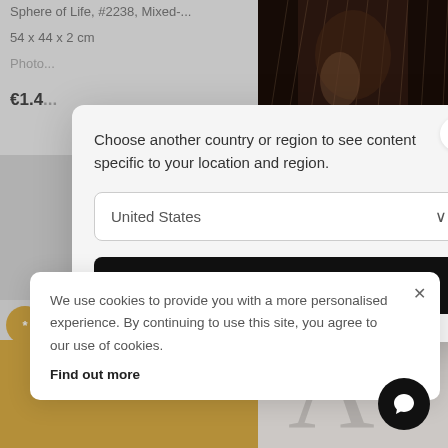Sphere of Life, #2238, Mixed-...
54 x 44 x 2 cm
Photo...
€1.4...
[Figure (photo): Black and white close-up photograph of a person with long white/grey hair and beard]
[Figure (screenshot): Country/region selection modal dialog with close button, dropdown showing United States, and Validate button]
Choose another country or region to see content specific to your location and region.
United States
Validate
R...
45...
the test →
work no...
[Figure (screenshot): Cookie consent banner with close button, informational text, and Find out more link]
We use cookies to provide you with a more personalised experience. By continuing to use this site, you agree to our use of cookies.
Find out more